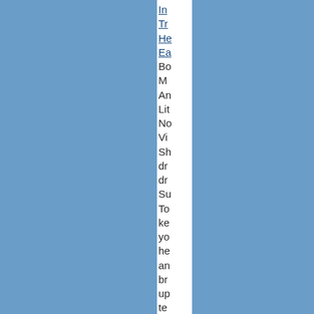In... Tr... He... Ea... Bo... M... An... Lit... No... Vi... Sh... dr... dr... Su... To... ke... yo... he... an... br... up... te... an...